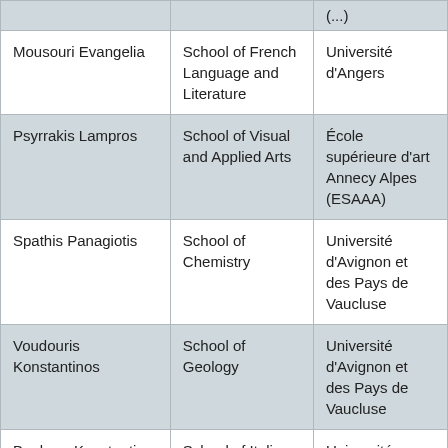| Name | School | University |
| --- | --- | --- |
| Mousouri Evangelia | School of French Language and Literature | Université d'Angers |
| Psyrrakis Lampros | School of Visual and Applied Arts | École supérieure d'art Annecy Alpes (ESAAA) |
| Spathis Panagiotis | School of Chemistry | Université d'Avignon et des Pays de Vaucluse |
| Voudouris Konstantinos | School of Geology | Université d'Avignon et des Pays de Vaucluse |
| Boubara Konstantina | School of Italian Language and Literature | Université d'Avignon et des Pays de Vaucluse |